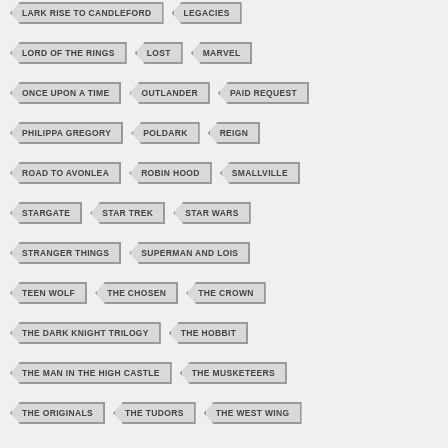LARK RISE TO CANDLEFORD
LEGACIES
LORD OF THE RINGS
LOST
MARVEL
ONCE UPON A TIME
OUTLANDER
PAID REQUEST
PHILIPPA GREGORY
POLDARK
REIGN
ROAD TO AVONLEA
ROBIN HOOD
SMALLVILLE
STARGATE
STAR TREK
STAR WARS
STRANGER THINGS
SUPERMAN AND LOIS
TEEN WOLF
THE CHOSEN
THE CROWN
THE DARK KNIGHT TRILOGY
THE HOBBIT
THE MAN IN THE HIGH CASTLE
THE MUSKETEERS
THE ORIGINALS
THE TUDORS
THE WEST WING